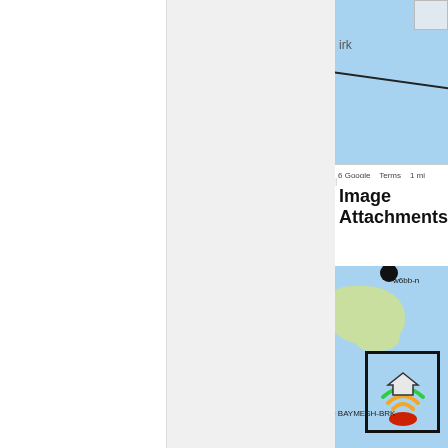[Figure (screenshot): Left white panel - blank white area]
[Figure (screenshot): Middle light gray panel - blank gray area]
[Figure (map): Top Google Maps screenshot showing a coastal/waterway area in light blue with a diagonal road line and partial text 'irk' and '6 Google Terms 1 mi' at bottom]
Image Attachments
[Figure (map): Bottom Google Maps screenshot showing coastal bay area with green land masses, a black circle marker labeled 'w6bb-n', a highlighted box around a WiFi/mesh network icon labeled 'SSID = BAYMESH-BRK']